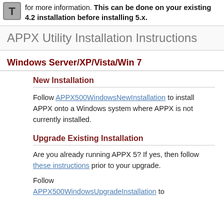for more information. This can be done on your existing 4.2 installation before installing 5.x.
APPX Utility Installation Instructions
Windows Server/XP/Vista/Win 7
New Installation
Follow APPX500WindowsNewInstallation to install APPX onto a Windows system where APPX is not currently installed.
Upgrade Existing Installation
Are you already running APPX 5? If yes, then follow these instructions prior to your upgrade.
Follow APPX500WindowsUpgradeInstallation to